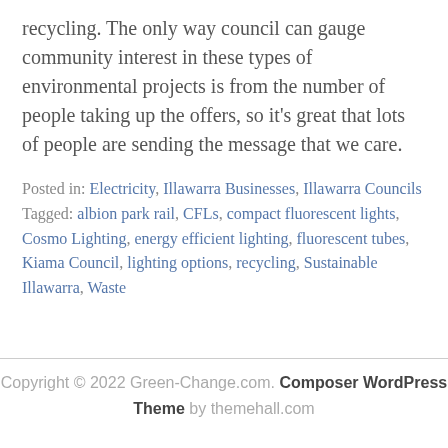recycling. The only way council can gauge community interest in these types of environmental projects is from the number of people taking up the offers, so it's great that lots of people are sending the message that we care.
Posted in: Electricity, Illawarra Businesses, Illawarra Councils Tagged: albion park rail, CFLs, compact fluorescent lights, Cosmo Lighting, energy efficient lighting, fluorescent tubes, Kiama Council, lighting options, recycling, Sustainable Illawarra, Waste
Copyright © 2022 Green-Change.com. Composer WordPress Theme by themehall.com